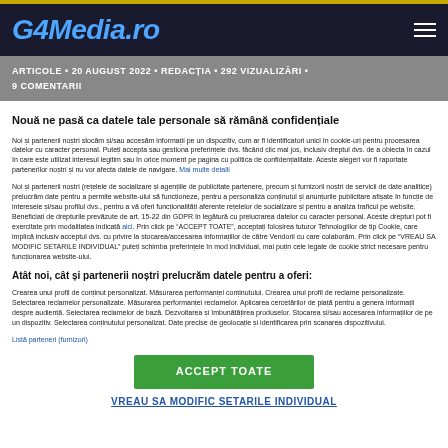G4Media.ro
ARTICOLE • 20 AUGUST 2022 • REDACȚIA • 292 VIZUALIZĂRI • 9 COMENTARII
Nouă ne pasă ca datele tale personale să rămână confidențiale
Noi și partenerii noștri stocăm și/sau accesăm informații pe un dispozitiv, cum ar fi identificatori unici în cookie-uri pentru procesarea datelor cu caracter personal. Puteți accepta sau gestiona preferințele dvs. făcând clic mai jos, inclusiv dreptul dvs. de a obiecta în cazul în care este utilizat interesul legitim sau în orice moment pe pagina cu politica de confidențialitate. Aceste alegeri vor fi raportate partenerilor noștri și nu vor afecta datele de navigare. Mai multe detalii
Noi și partenerii noștri (rețelele de socializare și agențiile de publicitate partenere, precum și furnizorii noștri de servicii de date analitice) prelucrăm date pentru a permite website-ului să funcționeze, pentru a personaliza conținutul și anunțurile publicitare afișate în funcție de interesele și/sau profilul dvs., pentru a vă oferi funcționalități aferente rețelelor de socializare și pentru a analiza traficul pe website. Beneficiați de drepturile prevăzute de art. 15-22 din GDPR în legătură cu prelucrarea datelor cu caracter personal. Aceste drepturi pot fi exercitate prin modalitatea indicată aici. Prin click pe "ACCEPT TOATE", acceptați folosirea tuturor Tehnologiilor de tip Cookie, care implică inclusiv acceptul dvs. cu privire la stocarea/accesarea informațiilor de către Vendorii cu care colaborăm. Prin click pe "VREAU SA MODIFIC SETARILE INDIVIDUAL" puteți schimba preferințele în mod individual, mai puțin cele legate de cookie strict necesare pentru funcționarea website-ului.
Atât noi, cât și partenerii noștri prelucrăm datele pentru a oferi:
Crearea unui profil de conținut personalizat. Măsurarea performanței conținutului. Crearea unui profil de reclame personalizate. Selectarea reclamelor personalizate. Măsurarea performanței reclamelor. Aplicarea cercetărilor de piață pentru a genera informații despre audiență. Selectarea reclamelor de bază. Dezvoltarea și îmbunătățirea produselor. Stocarea și/sau accesarea informațiilor de pe un dispozitiv. Selectarea conținutului personalizat. Date precise de geolocație și identificarea prin scanarea dispozitivului.
Listă parteneri (furnizori)
ACCEPT TOATE
VREAU SA MODIFIC SETARILE INDIVIDUAL